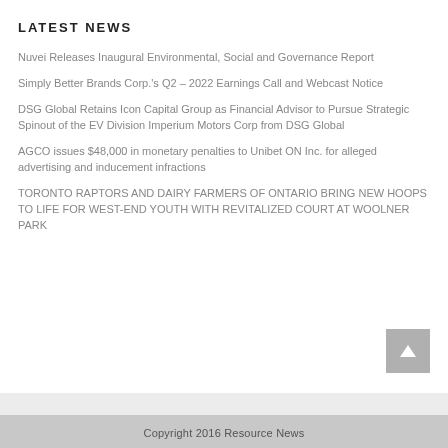LATEST NEWS
Nuvei Releases Inaugural Environmental, Social and Governance Report
Simply Better Brands Corp.'s Q2 – 2022 Earnings Call and Webcast Notice
DSG Global Retains Icon Capital Group as Financial Advisor to Pursue Strategic Spinout of the EV Division Imperium Motors Corp from DSG Global
AGCO issues $48,000 in monetary penalties to Unibet ON Inc. for alleged advertising and inducement infractions
TORONTO RAPTORS AND DAIRY FARMERS OF ONTARIO BRING NEW HOOPS TO LIFE FOR WEST-END YOUTH WITH REVITALIZED COURT AT WOOLNER PARK
Copyright 2016 Resource News